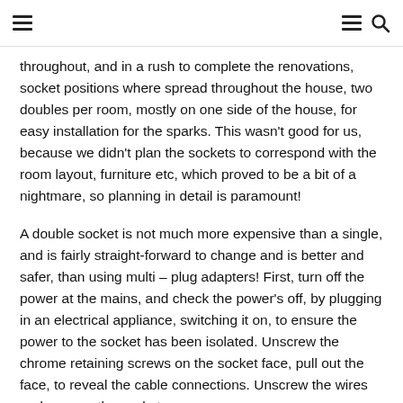≡  ≡ 🔍
throughout, and in a rush to complete the renovations, socket positions where spread throughout the house, two doubles per room, mostly on one side of the house, for easy installation for the sparks. This wasn't good for us, because we didn't plan the sockets to correspond with the room layout, furniture etc, which proved to be a bit of a nightmare, so planning in detail is paramount!
A double socket is not much more expensive than a single, and is fairly straight-forward to change and is better and safer, than using multi – plug adapters! First, turn off the power at the mains, and check the power's off, by plugging in an electrical appliance, switching it on, to ensure the power to the socket has been isolated. Unscrew the chrome retaining screws on the socket face, pull out the face, to reveal the cable connections. Unscrew the wires and remove the socket